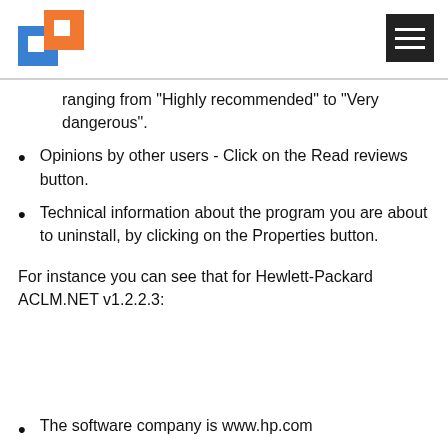[Figure (logo): Blue and orange interlocking squares logo]
[Figure (other): Hamburger menu icon (three white lines on black background)]
ranging from "Highly recommended" to "Very dangerous".
Opinions by other users - Click on the Read reviews button.
Technical information about the program you are about to uninstall, by clicking on the Properties button.
For instance you can see that for Hewlett-Packard ACLM.NET v1.2.2.3:
The software company is www.hp.com